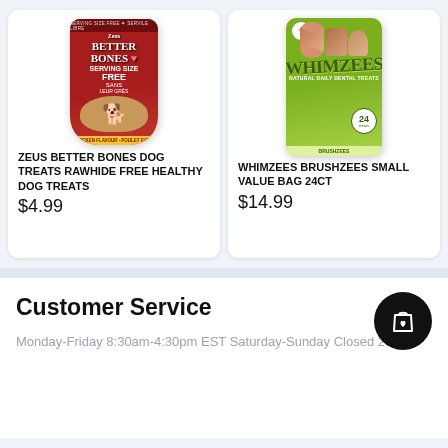[Figure (photo): Zeus Better Bones dog treats package - red bag with dog image]
ZEUS BETTER BONES DOG TREATS RAWHIDE FREE HEALTHY DOG TREATS
$4.99
[Figure (photo): Whimzees Brushzees small value bag 24ct - green package with dental treats]
WHIMZEES BRUSHZEES SMALL VALUE BAG 24CT
$14.99
Customer Service
[Figure (illustration): Black circular button with shopping bag and heart icon]
Monday-Friday 8:30am-4:30pm EST Saturday-Sunday Closed 205